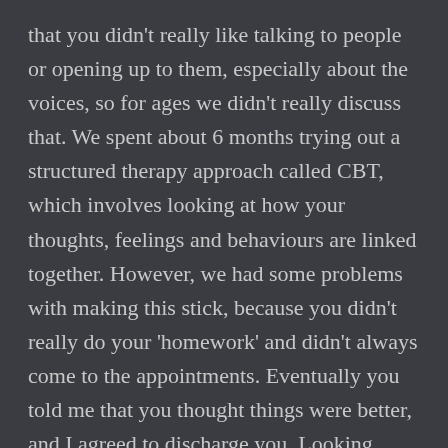that you didn't really like talking to people or opening up to them, especially about the voices, so for ages we didn't really discuss that. We spent about 6 months trying out a structured therapy approach called CBT, which involves looking at how your thoughts, feelings and behaviours are linked together. However, we had some problems with making this stick, because you didn't really do your 'homework' and didn't always come to the appointments. Eventually you told me that you thought things were better, and I agreed to discharge you. Looking back, I think we both realise that maybe the CBT wasn't really suiting you and that you had talked your way out of carrying on with the appointments again, like